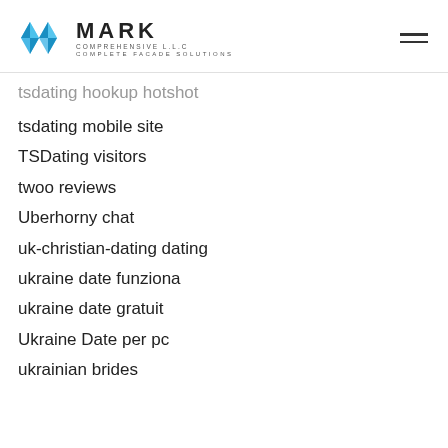MARK COMPREHENSIVE L.L.C COMPLETE FACADE SOLUTIONS
tsdating hookup hotshot
tsdating mobile site
TSDating visitors
twoo reviews
Uberhorny chat
uk-christian-dating dating
ukraine date funziona
ukraine date gratuit
Ukraine Date per pc
ukrainian brides